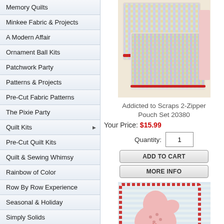Memory Quilts
Minkee Fabric & Projects
A Modern Affair
Ornament Ball Kits
Patchwork Party
Patterns & Projects
Pre-Cut Fabric Patterns
The Pixie Party
Quilt Kits
Pre-Cut Quilt Kits
Quilt & Sewing Whimsy
Rainbow of Color
Row By Row Experience
Seasonal & Holiday
Simply Solids
Stonehenge Fabrics
Swirls & Twirls
[Figure (photo): Addicted to Scraps 2-Zipper Pouch Set, colorful patchwork fabric pouches]
Addicted to Scraps 2-Zipper Pouch Set 20380
Your Price: $15.99
Quantity: 1
ADD TO CART
MORE INFO
[Figure (photo): Mitten quilt with heart design on striped background]